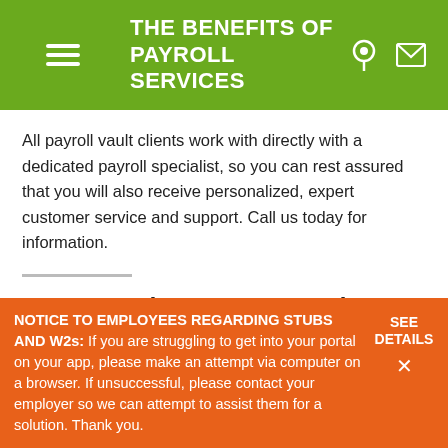THE BENEFITS OF PAYROLL SERVICES
All payroll vault clients work with directly with a dedicated payroll specialist, so you can rest assured that you will also receive personalized, expert customer service and support. Call us today for information.
Interesting post? Share it on social networks:
Share  Share  Share
NOTICE TO EMPLOYEES REGARDING STUBS AND W2s: If you are struggling to get into your portal on your app, please make an attempt via computer on a browser. If unsuccessful, please contact your employer so we can attempt to assist them for a solution. Thank you.